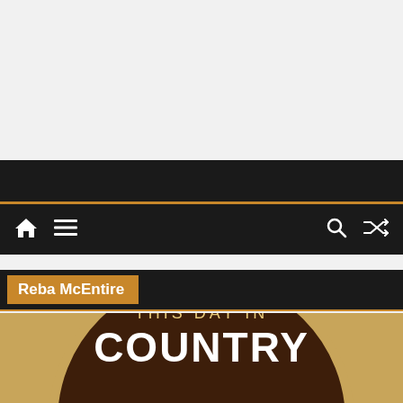[Figure (screenshot): Website screenshot showing a dark-themed country music website. Top portion shows light gray background. A dark header bar with a gold accent line is below. Navigation bar with home icon, hamburger menu icon on the left, and search and shuffle icons on the right. Below is a section tag labeled 'Reba McEntire' in white text on gold/amber background. A gold underline separates it from a 'This Day In Country' circular badge/logo on a tan/golden background.]
Reba McEntire
[Figure (logo): Circular dark brown badge logo with gold border reading 'THIS DAY IN' in gold lettering and 'COUNTRY' in large white bold lettering, on a tan/golden background.]